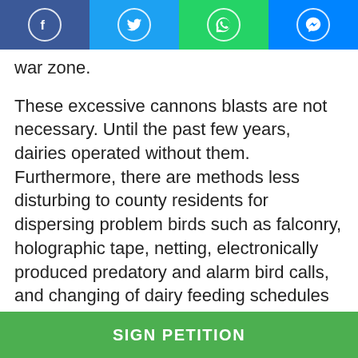[Figure (screenshot): Social media share bar with Facebook (blue), Twitter (light blue), WhatsApp (green), and Messenger (blue) icons]
war zone.
These excessive cannons blasts are not necessary. Until the past few years, dairies operated without them. Furthermore, there are methods less disturbing to county residents for dispersing problem birds such as falconry, holographic tape, netting, electronically produced predatory and alarm bird calls, and changing of dairy feeding schedules to name a few.
Churchill County should go back to being a place of peace and quiet for its citizens to enjoy. Eliminating the use of cannons is necessary to protect homestead values and allow citizens to
SIGN PETITION